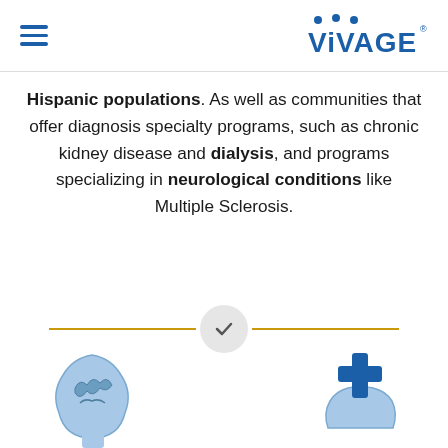VIVAGE (logo with hamburger menu)
Hispanic populations. As well as communities that offer diagnosis specialty programs, such as chronic kidney disease and dialysis, and programs specializing in neurological conditions like Multiple Sclerosis.
[Figure (illustration): Horizontal gold divider line with a light gray circle containing a checkmark in the center]
[Figure (illustration): Brain/head icon (blue) at bottom left and medical cross on hand icon (blue) at bottom right]